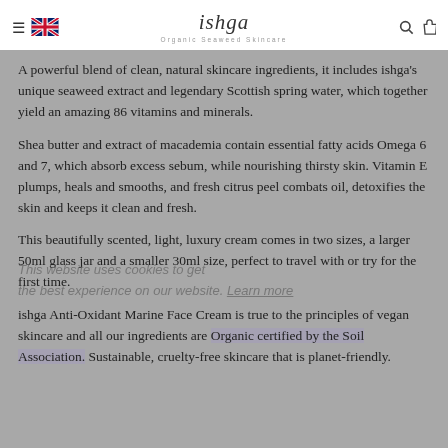ishga — Organic Seaweed Skincare
A powerful blend of clean, natural skincare ingredients, it includes ishga's unique seaweed extract and legendary Scottish spring water, which together yield an amazing 86 vitamins and minerals.
Shea butter and extract of macademia contain essential fatty acids Omega 6 and 7, which absorb excess sebum, while nourishing thirsty skin. Vitamin E plumps, heals and smooths, and fresh citrus peel combats oil, detoxifies the skin and keeps it clean and fresh.
This beautifully scented, light, luxury cream comes in two sizes, a larger 50ml glass jar and a smaller 30ml size, perfect to travel with or try for the first time.
ishga Anti-Oxidant Marine Face Cream is true to the principles of vegan skincare and all our ingredients are Organic certified by the Soil Association. Sustainable, cruelty-free skincare that is planet-friendly.